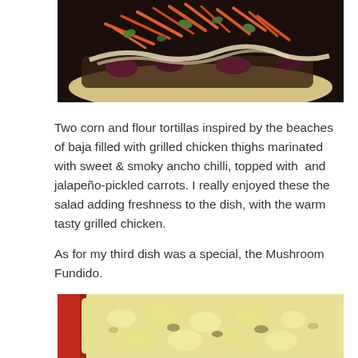[Figure (photo): Close-up photo of corn and flour tortillas topped with shredded carrots, cilantro, and dark mushroom slices on a dark background]
Two corn and flour tortillas inspired by the beaches of baja filled with grilled chicken thighs marinated with sweet & smoky ancho chilli, topped with  and jalapeño-pickled carrots. I really enjoyed these the salad adding freshness to the dish, with the warm tasty grilled chicken.

As for my third dish was a special, the Mushroom Fundido.
[Figure (photo): Close-up photo of Mushroom Fundido — melted cheese with mushrooms in a red dish]